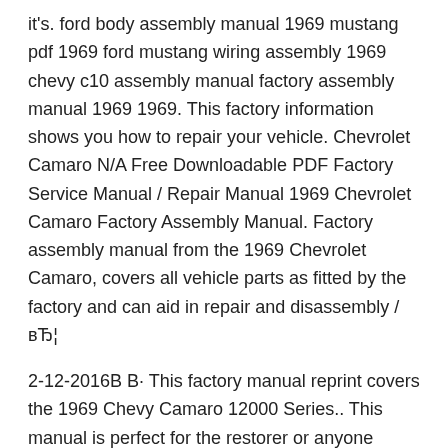it's. ford body assembly manual 1969 mustang pdf 1969 ford mustang wiring assembly 1969 chevy c10 assembly manual factory assembly manual 1969 1969. This factory information shows you how to repair your vehicle. Chevrolet Camaro N/A Free Downloadable PDF Factory Service Manual / Repair Manual 1969 Chevrolet Camaro Factory Assembly Manual. Factory assembly manual from the 1969 Chevrolet Camaro, covers all vehicle parts as fitted by the factory and can aid in repair and disassembly / вЂ¦
2-12-2016В В· This factory manual reprint covers the 1969 Chevy Camaro 12000 Series.. This manual is perfect for the restorer or anyone working on one of these vehicles. Clear illustrations show exploded views along with part numbers when appropriate and location. 6-11-2017В В· Here are downloadable versions (pdf's) of the 67-69 AIM's and some service manuals. AIM's: 1967 Camaro AIM 1968 Camaro AIM